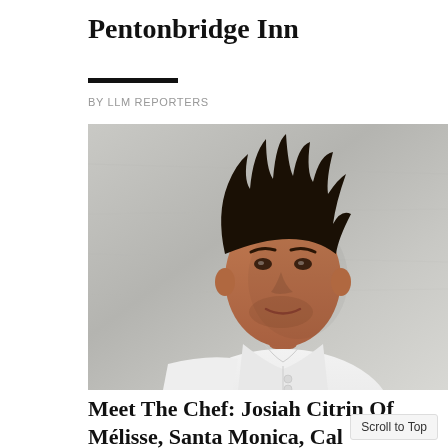Pentonbridge Inn
BY LLM REPORTERS
[Figure (photo): Portrait of chef Josiah Citrin wearing a white chef's coat, photographed against a gray concrete wall background. He has dark spiky hair and is looking at the camera with a slight smile.]
Meet The Chef: Josiah Citrin Of Mélisse, Santa Monica, Cal